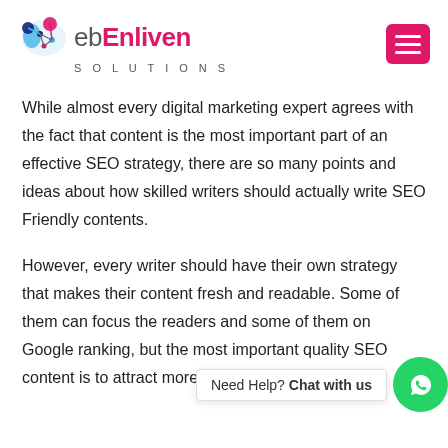WebEnliven Solutions [logo] [hamburger menu]
While almost every digital marketing expert agrees with the fact that content is the most important part of an effective SEO strategy, there are so many points and ideas about how skilled writers should actually write SEO Friendly contents.
However, every writer should have their own strategy that makes their content fresh and readable. Some of them can focus the readers and some of them on Google ranking, but the most important quality SEO content is to attract more traffic.